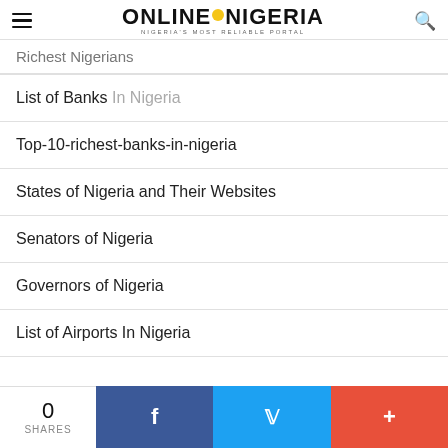Online Nigeria — Nigeria's Most Reliable Portal
Richest Nigerians
List of Banks In Nigeria
Top-10-richest-banks-in-nigeria
States of Nigeria and Their Websites
Senators of Nigeria
Governors of Nigeria
List of Airports In Nigeria
0 SHARES | Facebook | Twitter | More